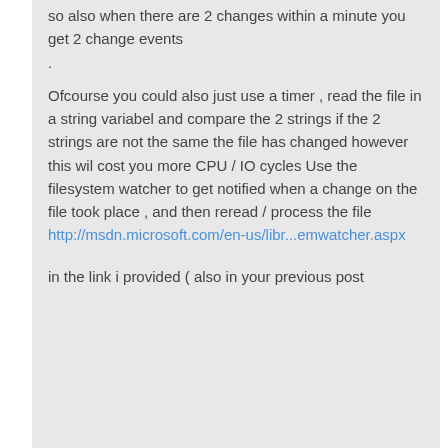so also when there are 2 changes within a minute you get 2 change events
.
Ofcourse you could also just use a timer , read the file in a string variabel and compare the 2 strings if the 2 strings are not the same the file has changed however this wil cost you more CPU / IO cycles Use the filesystem watcher to get notified when a change on the file took place , and then reread / process the file http://msdn.microsoft.com/en-us/libr...emwatcher.aspx
in the link i provided ( also in your previous post